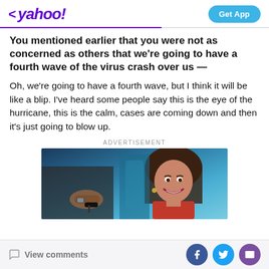< yahoo! | Get App
You mentioned earlier that you were not as concerned as others that we're going to have a fourth wave of the virus crash over us —
Oh, we're going to have a fourth wave, but I think it will be like a blip. I've heard some people say this is the eye of the hurricane, this is the calm, cases are coming down and then it's just going to blow up.
ADVERTISEMENT
[Figure (photo): Advertisement image showing a smiling woman in a red top sitting in a car, with someone handing her car keys through the window]
View comments | Facebook | Twitter | Mail